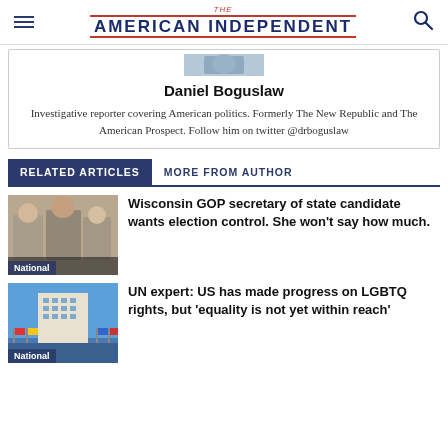THE AMERICAN INDEPENDENT
[Figure (photo): Partial author photo of Daniel Boguslaw]
Daniel Boguslaw
Investigative reporter covering American politics. Formerly The New Republic and The American Prospect. Follow him on twitter @drboguslaw
RELATED ARTICLES | MORE FROM AUTHOR
[Figure (photo): Photo of women at a table, Wisconsin GOP secretary of state candidate hearing, labeled National]
Wisconsin GOP secretary of state candidate wants election control. She won't say how much.
[Figure (photo): Photo of UN building with flags, labeled National]
UN expert: US has made progress on LGBTQ rights, but 'equality is not yet within reach'